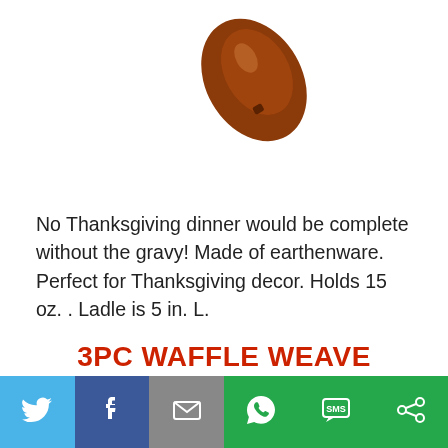[Figure (photo): Brown ceramic gravy ladle, bowl end shown at top, partial view against white background]
No Thanksgiving dinner would be complete without the gravy! Made of earthenware. Perfect for Thanksgiving decor. Holds 15 oz. . Ladle is 5 in. L.
3PC WAFFLE WEAVE DISHCLOTH SET
[Figure (photo): Partial view of a white rectangular frame/cloth with grey border]
[Figure (infographic): Social sharing bar with icons for Twitter, Facebook, Email, WhatsApp, SMS, and ShareThis]